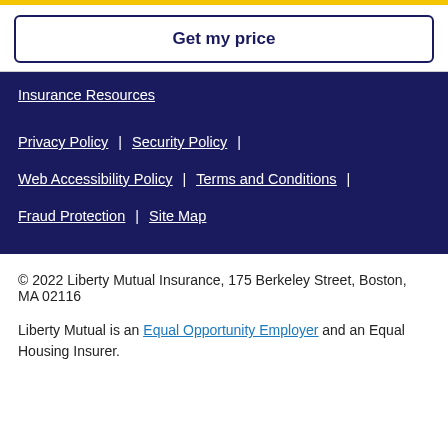Get my price
Insurance Resources
Privacy Policy | Security Policy | Web Accessibility Policy | Terms and Conditions | Fraud Protection | Site Map
© 2022 Liberty Mutual Insurance, 175 Berkeley Street, Boston, MA 02116
Liberty Mutual is an Equal Opportunity Employer and an Equal Housing Insurer.